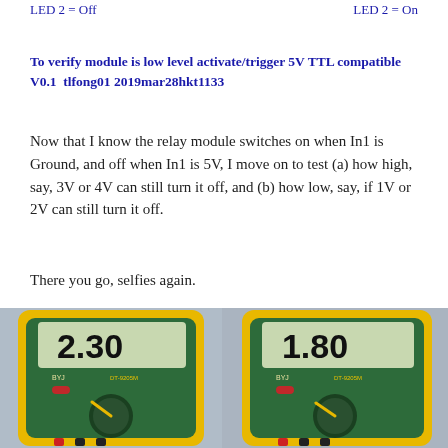LED 2 = Off   LED 2 = On
To verify module is low level activate/trigger 5V TTL compatible
V0.1  tlfong01 2019mar28hkt1133
Now that I know the relay module switches on when In1 is Ground, and off when In1 is 5V, I move on to test (a) how high, say, 3V or 4V can still turn it off, and (b) how low, say, if 1V or 2V can still turn it off.
There you go, selfies again.
[Figure (photo): Multimeter showing reading 2.30 on display, green and yellow body, DT-9205M model]
[Figure (photo): Multimeter showing reading 1.80 on display, green and yellow body, DT-9205M model]